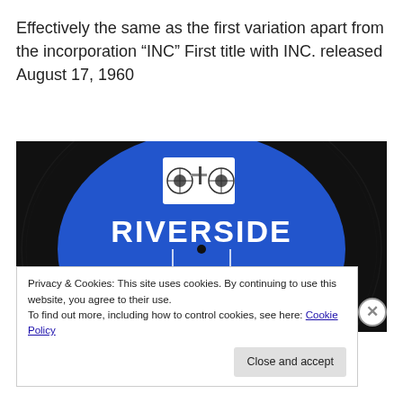Effectively the same as the first variation apart from the incorporation “INC” First title with INC. released August 17, 1960
[Figure (photo): Photo of a blue vinyl record label reading RIVERSIDE in large bold white letters, with a reel-to-reel tape recorder logo above, and partial text JOHNNY GRIFFIN visible at the bottom edge.]
Privacy & Cookies: This site uses cookies. By continuing to use this website, you agree to their use.
To find out more, including how to control cookies, see here: Cookie Policy